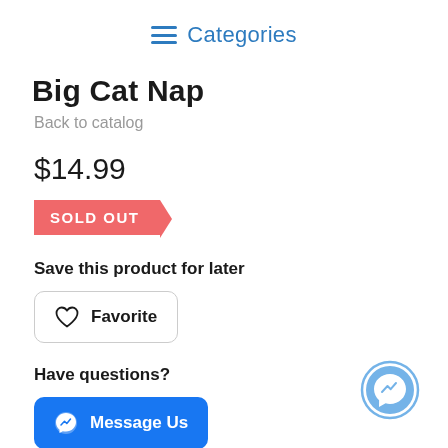Categories
Big Cat Nap
Back to catalog
$14.99
SOLD OUT
Save this product for later
Favorite
Have questions?
Message Us
[Figure (logo): Facebook Messenger floating icon button, blue circle with white lightning bolt messenger logo]